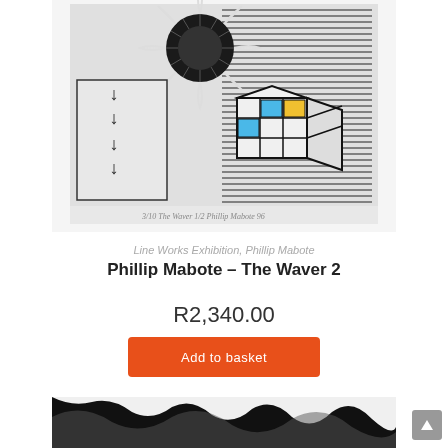[Figure (illustration): Black and white linocut/woodcut print showing a Rubik's cube with blue and yellow colored squares, set against a background of hatched lines and downward arrows, with a circular flower-like motif at the top. Artist signature visible at bottom.]
Line Works Exhibition, Phillip Mabote
Phillip Mabote – The Waver 2
R2,340.00
Add to basket
[Figure (illustration): Partial view of another artwork showing black and white abstract striped/wave pattern.]